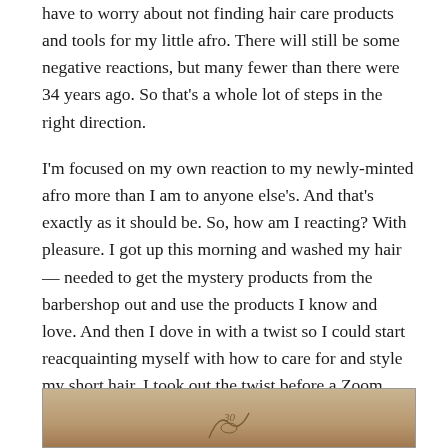have to worry about not finding hair care products and tools for my little afro. There will still be some negative reactions, but many fewer than there were 34 years ago. So that's a whole lot of steps in the right direction.
I'm focused on my own reaction to my newly-minted afro more than I am to anyone else's. And that's exactly as it should be. So, how am I reacting? With pleasure. I got up this morning and washed my hair — needed to get the mystery products from the barbershop out and use the products I know and love. And then I dove in with a twist so I could start reacquainting myself with how to care for and style my short hair. I took out the twist before a Zoom tonight, and I'm happy with the result.
[Figure (photo): Partial photo visible at bottom of page, showing a warm tan/brown background with a faint sketch or illustration element at bottom center.]